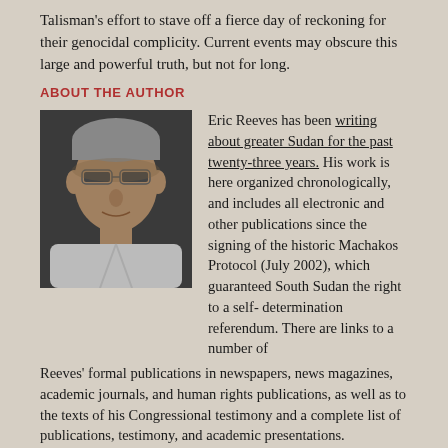Talisman's effort to stave off a fierce day of reckoning for their genocidal complicity. Current events may obscure this large and powerful truth, but not for long.
ABOUT THE AUTHOR
[Figure (photo): Black and white portrait photo of Eric Reeves, an older man with glasses]
Eric Reeves has been writing about greater Sudan for the past twenty-three years. His work is here organized chronologically, and includes all electronic and other publications since the signing of the historic Machakos Protocol (July 2002), which guaranteed South Sudan the right to a self- determination referendum. There are links to a number of Reeves' formal publications in newspapers, news magazines, academic journals, and human rights publications, as well as to the texts of his Congressional testimony and a complete list of publications, testimony, and academic presentations.
LEARN MORE
PHOTOS AND TWEETS